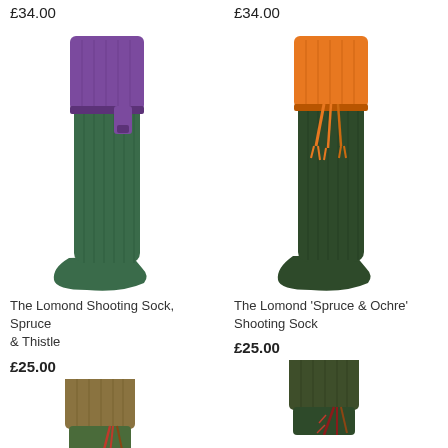£34.00
[Figure (photo): Green ribbed shooting sock with purple/thistle folded cuff and garter strap]
The Lomond Shooting Sock, Spruce & Thistle
£25.00
[Figure (photo): Bottom of green shooting sock with tan/khaki cuff and red tassel garter, partially cropped]
£34.00
[Figure (photo): Dark green ribbed shooting sock with orange/ochre folded cuff and orange tassel garters]
The Lomond 'Spruce & Ochre' Shooting Sock
£25.00
[Figure (photo): Dark green shooting sock with matching dark green cuff and red feather/tassel garter, partially cropped]